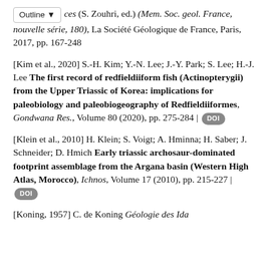ces (S. Zouhri, ed.) (Mem. Soc. geol. France, nouvelle série, 180), La Société Géologique de France, Paris, 2017, pp. 167-248
[Kim et al., 2020] S.-H. Kim; Y.-N. Lee; J.-Y. Park; S. Lee; H.-J. Lee The first record of redfieldiiform fish (Actinopterygii) from the Upper Triassic of Korea: implications for paleobiology and paleobiogeography of Redfieldiiformes, Gondwana Res., Volume 80 (2020), pp. 275-284 | DOI
[Klein et al., 2010] H. Klein; S. Voigt; A. Hminna; H. Saber; J. Schneider; D. Hmich Early triassic archosaur-dominated footprint assemblage from the Argana basin (Western High Atlas, Morocco), Ichnos, Volume 17 (2010), pp. 215-227 | DOI
[Koning, 1957] C. de Koning Géologie des Ida...